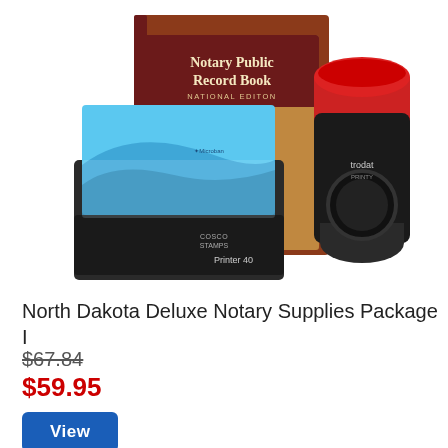[Figure (photo): Product photo showing a North Dakota Notary Supplies Package: a Notary Public Record Book (National Edition) with dark red cover and gold star, a blue self-inking rectangular stamp (Cosco Printer 40), and a red and black round Trodat stamp.]
North Dakota Deluxe Notary Supplies Package I
$67.84
$59.95
View